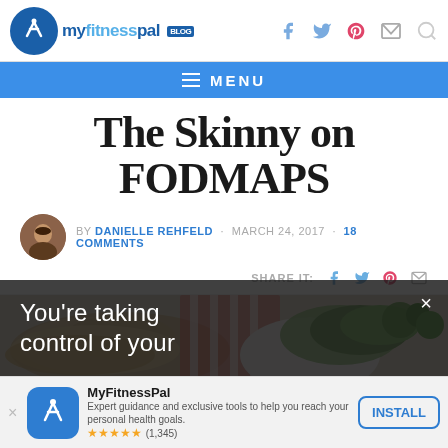myfitnesspal BLOG
The Skinny on FODMAPS
BY DANIELLE REHFELD · MARCH 24, 2017 · 18 COMMENTS
SHARE IT:
[Figure (photo): Food photo showing pita bread, vegetables including bok choy and herbs on a plate]
You're taking control of your
MyFitnessPal
Expert guidance and exclusive tools to help you reach your personal health goals.
★★★★★ (1,345)